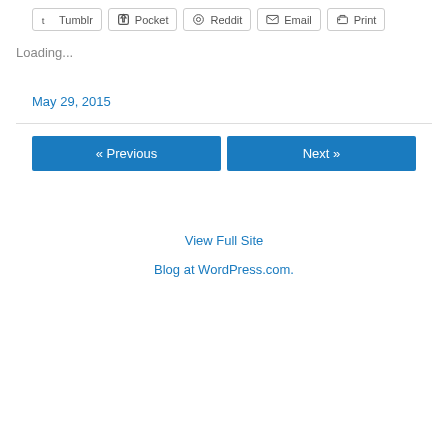Tumblr
Pocket
Reddit
Email
Print
Loading...
May 29, 2015
« Previous
Next »
View Full Site
Blog at WordPress.com.